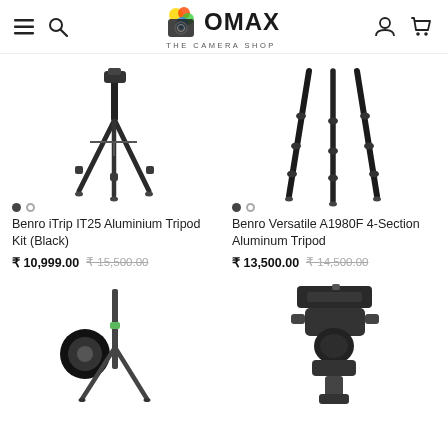Omax – The Camera Shop
[Figure (photo): Benro iTrip IT25 Aluminium Tripod Kit (Black) product image, dark tripod with three legs spread, carousel dots below]
Benro iTrip IT25 Aluminium Tripod Kit (Black)
₹ 10,999.00  ₹ 15,500.00
[Figure (photo): Benro Versatile A1980F 4-Section Aluminum Tripod product image, black tripod legs, carousel dots below]
Benro Versatile A1980F 4-Section Aluminum Tripod
₹ 13,500.00  ₹ 14,500.00
[Figure (photo): Tripod product with green accent and circular branding element]
[Figure (photo): Camera ball head / tripod head accessory product image]